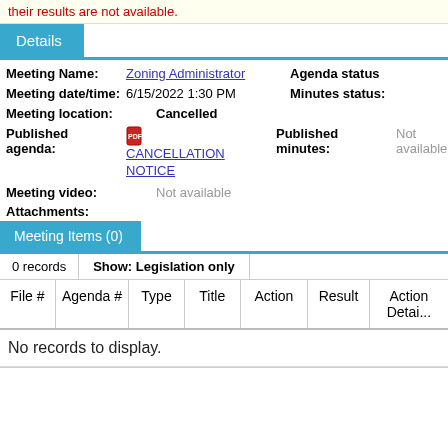their results are not available.
Details
| Meeting Name: | Zoning Administrator | Agenda status: |
| Meeting date/time: | 6/15/2022 1:30 PM | Minutes status: |
| Meeting location: | Cancelled |  |
| Published agenda: | CANCELLATION NOTICE [PDF icon] | Published minutes: Not available | Meeting Extra3: Not a... |
| Meeting video: | Not available |  |
| Attachments: |  |  |
Meeting Items (0)
0 records   Show: Legislation only
| File # | Agenda # | Type | Title | Action | Result | Action Detail |
| --- | --- | --- | --- | --- | --- | --- |
No records to display.